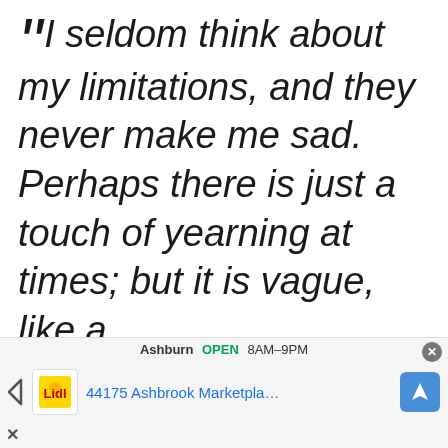“I seldom think about my limitations, and they never make me sad. Perhaps there is just a touch of yearning at times; but it is vague, like a
[Figure (screenshot): Advertisement banner for Lidl store at 44175 Ashbrook Marketplace, Ashburn, showing OPEN 8AM-9PM with navigation icons and close button]